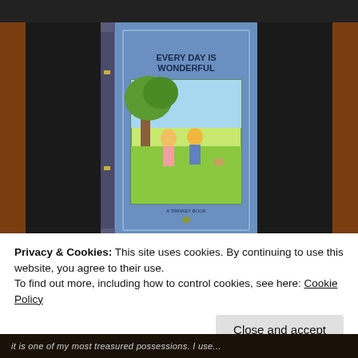[Figure (photo): A blue hardcover children's book titled 'EVERY DAY IS WONDERFUL' with an illustrated cover showing two children and a small animal in a colorful outdoor scene. Labeled 'A TRINKET BOOK' at the bottom of the cover.]
Privacy & Cookies: This site uses cookies. By continuing to use this website, you agree to their use.
To find out more, including how to control cookies, see here: Cookie Policy
Close and accept
it is one of my most treasured possessions. I use...